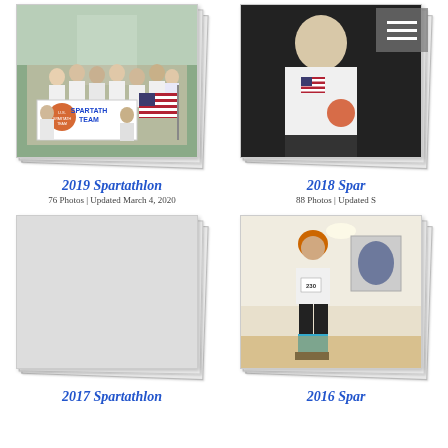[Figure (photo): 2019 Spartathlon album cover: group photo with U.S. Spartathlon Team banner and American flag]
2019 Spartathlon
76 Photos | Updated March 4, 2020
[Figure (photo): 2018 Spartathlon album cover: person wearing white shirt with American flag patch, partially visible, with hamburger menu icon overlay]
2018 Spar
88 Photos | Updated S
[Figure (photo): 2017 Spartathlon album cover: blank white photo stack]
2017 Spartathlon
[Figure (photo): 2016 Spartathlon album cover: person with orange hair and blue socks standing in gallery]
2016 Spar